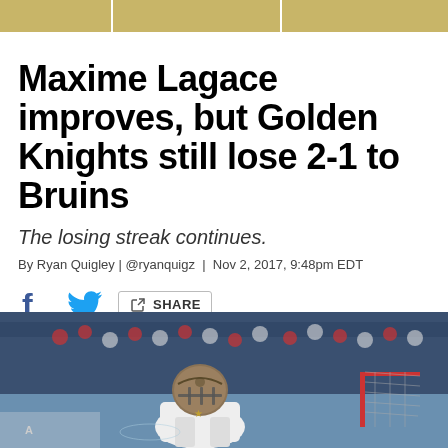Maxime Lagace improves, but Golden Knights still lose 2-1 to Bruins
The losing streak continues.
By Ryan Quigley | @ryanquigz | Nov 2, 2017, 9:48pm EDT
[Figure (other): Share bar with Facebook, Twitter, and share button icons]
[Figure (photo): Hockey goalie in Golden Knights gear in front of a net on the ice, crowd visible in background]